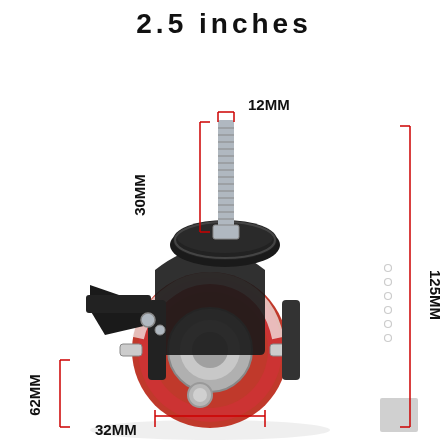2.5 inches
[Figure (photo): A 2.5 inch red and black caster wheel with threaded stem mount and brake, shown with dimension annotations: 12MM (stem width), 30MM (stem length), 125MM (total height), 62MM (bracket height), 32MM (wheel width). Red dimension bracket lines mark each measurement.]